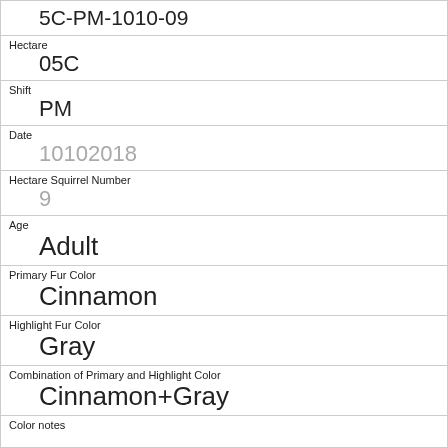5C-PM-1010-09
Hectare
05C
Shift
PM
Date
10102018
Hectare Squirrel Number
9
Age
Adult
Primary Fur Color
Cinnamon
Highlight Fur Color
Gray
Combination of Primary and Highlight Color
Cinnamon+Gray
Color notes
Location
Ground Plane